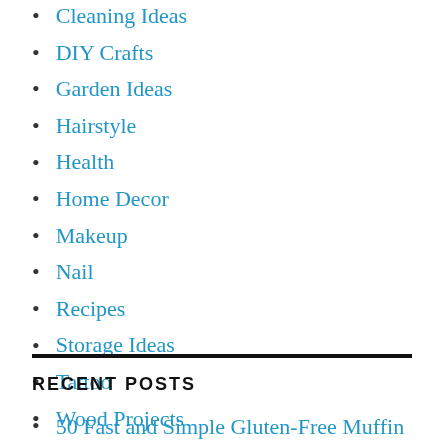Cleaning Ideas
DIY Crafts
Garden Ideas
Hairstyle
Health
Home Decor
Makeup
Nail
Recipes
Storage Ideas
Tattoo
Wood Projects
RECENT POSTS
50 Fast and Simple Gluten-Free Muffin